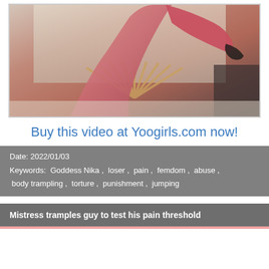[Figure (photo): Photo of a woman in pink outfit with high heels, taken from low angle perspective]
Buy this video at Yoogirls.com now!
Date: 2022/01/03
Keywords: Goddess Nika , loser , pain , femdom , abuse , body trampling , torture , punishment , jumping
Mistress tramples guy to test his pain threshold